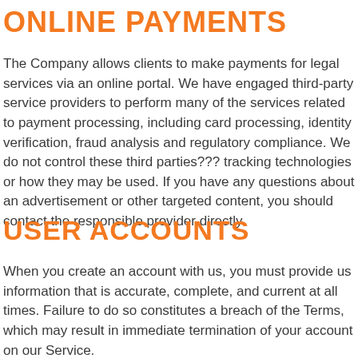ONLINE PAYMENTS
The Company allows clients to make payments for legal services via an online portal. We have engaged third-party service providers to perform many of the services related to payment processing, including card processing, identity verification, fraud analysis and regulatory compliance. We do not control these third parties??? tracking technologies or how they may be used. If you have any questions about an advertisement or other targeted content, you should contact the responsible provider directly.
USER ACCOUNTS
When you create an account with us, you must provide us information that is accurate, complete, and current at all times. Failure to do so constitutes a breach of the Terms, which may result in immediate termination of your account on our Service.